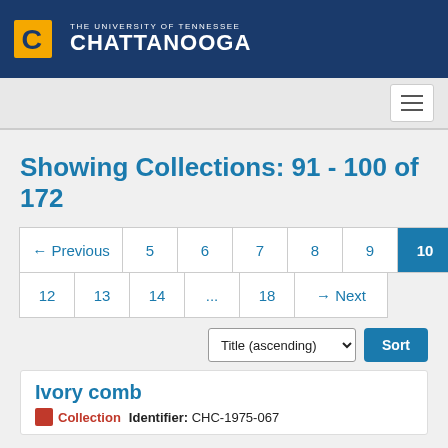[Figure (logo): University of Tennessee Chattanooga logo with gold C and white text on dark blue header background]
Showing Collections: 91 - 100 of 172
← Previous  5  6  7  8  9  10  11  12  13  14  ...  18  → Next
Title (ascending) Sort
Ivory comb
Collection   Identifier: CHC-1975-067